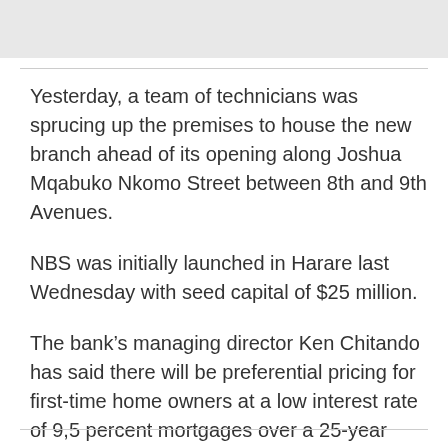[Figure (photo): Gray banner image at top of page]
Yesterday, a team of technicians was sprucing up the premises to house the new branch ahead of its opening along Joshua Mqabuko Nkomo Street between 8th and 9th Avenues.
NBS was initially launched in Harare last Wednesday with seed capital of $25 million.
The bank’s managing director Ken Chitando has said there will be preferential pricing for first-time home owners at a low interest rate of 9,5 percent mortgages over a 25-year tenure.